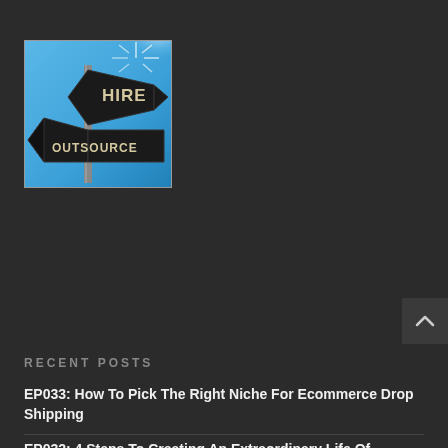[Figure (illustration): A road sign post showing two directional signs: one pointing upper right labeled HIRE, and one pointing lower left labeled OUTSOURCE, against a blue sky with sunburst in the upper right corner. Podcast or blog thumbnail image.]
[Figure (other): Dark button with upward-pointing chevron/caret arrow, used as a scroll-to-top button]
RECENT POSTS
EP033: How To Pick The Right Niche For Ecommerce Drop Shipping
EP032: 4 Steps To Creating An Extraordinary Life Of